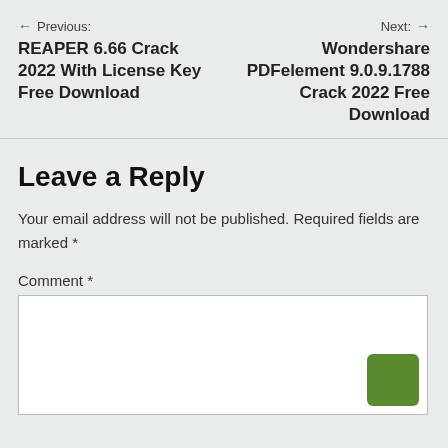← Previous: REAPER 6.66 Crack 2022 With License Key Free Download
Next: → Wondershare PDFelement 9.0.9.1788 Crack 2022 Free Download
Leave a Reply
Your email address will not be published. Required fields are marked *
Comment *